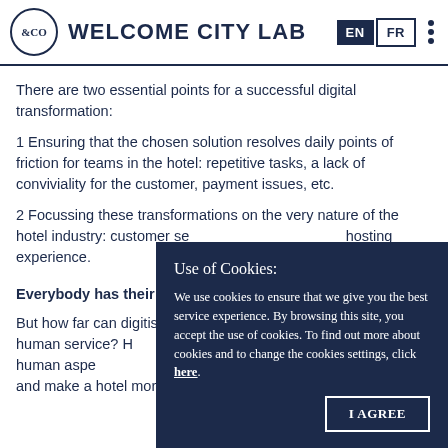&CO WELCOME CITY LAB — EN | FR
There are two essential points for a successful digital transformation:
1 Ensuring that the chosen solution resolves daily points of friction for teams in the hotel: repetitive tasks, a lack of conviviality for the customer, payment issues, etc.
2 Focussing these transformations on the very nature of the hotel industry: customer service, welcome, and the hosting experience.
Everybody has their own way of arriving…
But how far can digitisation go without taking away space for human service? How can technology be used to increase the human aspect of the encounter between guest and the host, and make a hotel more appealing?
[Figure (screenshot): Cookie consent popup overlay with dark navy background reading 'Use of Cookies: We use cookies to ensure that we give you the best service experience. By browsing this site, you accept the use of cookies. To find out more about cookies and to change the cookies settings, click here.' with an I AGREE button.]